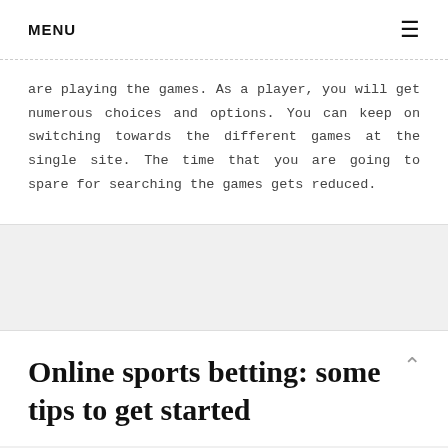MENU ☰
are playing the games. As a player, you will get numerous choices and options. You can keep on switching towards the different games at the single site. The time that you are going to spare for searching the games gets reduced.
Online sports betting: some tips to get started